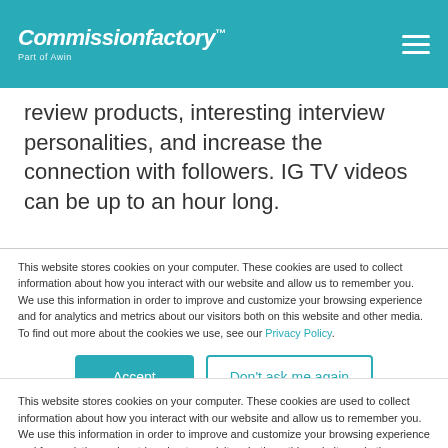Commissionfactory™ Part of Awin
review products, interesting interview personalities, and increase the connection with followers. IG TV videos can be up to an hour long.
12. Where to use affiliate links on Instagram
This website stores cookies on your computer. These cookies are used to collect information about how you interact with our website and allow us to remember you. We use this information in order to improve and customize your browsing experience and for analytics and metrics about our visitors both on this website and other media. To find out more about the cookies we use, see our Privacy Policy.